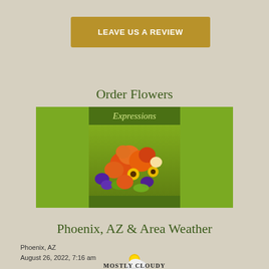LEAVE US A REVIEW
Order Flowers
[Figure (photo): Florist shop advertisement image with green background and colorful flower bouquet including orange roses, sunflowers, purple flowers; 'Expressions' text in cursive at top]
Phoenix, AZ & Area Weather
Phoenix, AZ
August 26, 2022, 7:16 am
[Figure (illustration): Partly sunny weather icon — sun behind clouds]
MOSTLY CLOUDY